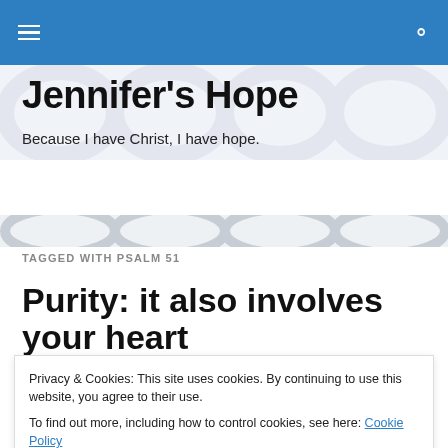Navigation bar with hamburger menu and search icon
Jennifer's Hope
Because I have Christ, I have hope.
TAGGED WITH PSALM 51
Purity: it also involves your heart
Privacy & Cookies: This site uses cookies. By continuing to use this website, you agree to their use.
To find out more, including how to control cookies, see here: Cookie Policy
You might be wondering why I'm focusing on this topic.